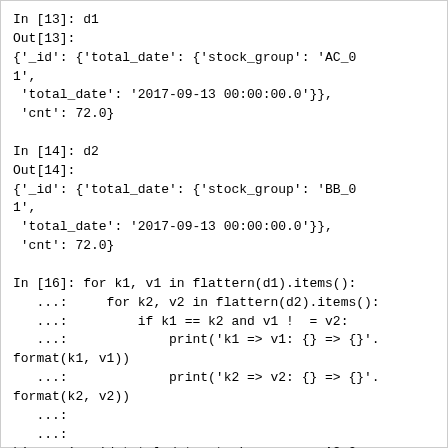In [13]: d1
Out[13]:
{'_id': {'total_date': {'stock_group': 'AC_01',
 'total_date': '2017-09-13 00:00:00.0'}},
 'cnt': 72.0}

In [14]: d2
Out[14]:
{'_id': {'total_date': {'stock_group': 'BB_01',
 'total_date': '2017-09-13 00:00:00.0'}},
 'cnt': 72.0}

In [16]: for k1, v1 in flattern(d1).items():
   ...:     for k2, v2 in flattern(d2).items():
   ...:         if k1 == k2 and v1 !  = v2:
   ...:             print('k1 => v1: {} => {}'.format(k1, v1))
   ...:             print('k2 => v2: {} => {}'.format(k2, v2))
   ...:
   ...:
k1 => v1: _id.total_date.stock_group => AC_0